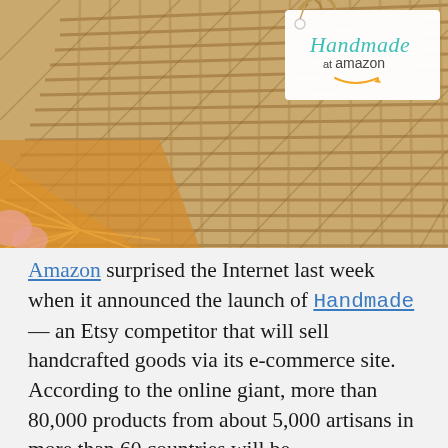[Figure (photo): Close-up photo of a woven wicker/rattan basket on a wooden surface, with a white tag labeled 'Handmade at amazon' attached. The tag has teal/turquoise text for 'Handmade' and dark text for 'at amazon' with the Amazon smile logo.]
Amazon surprised the Internet last week when it announced the launch of Handmade — an Etsy competitor that will sell handcrafted goods via its e-commerce site. According to the online giant, more than 80,000 products from about 5,000 artisans in more than 60 countries will be